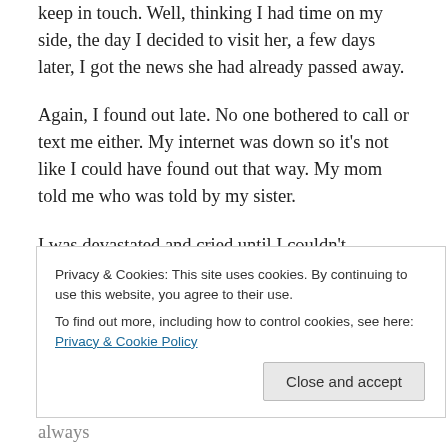keep in touch. Well, thinking I had time on my side, the day I decided to visit her, a few days later, I got the news she had already passed away.
Again, I found out late. No one bothered to call or text me either. My internet was down so it's not like I could have found out that way. My mom told me who was told by my sister.
I was devastated and cried until I couldn't anymore. The woman, my cousin, she was an old woman. Died in her early eighties. I haven't seen her in several years.
Privacy & Cookies: This site uses cookies. By continuing to use this website, you agree to their use. To find out more, including how to control cookies, see here: Privacy & Cookie Policy
Life isn't to be taken for granted. Love each other always